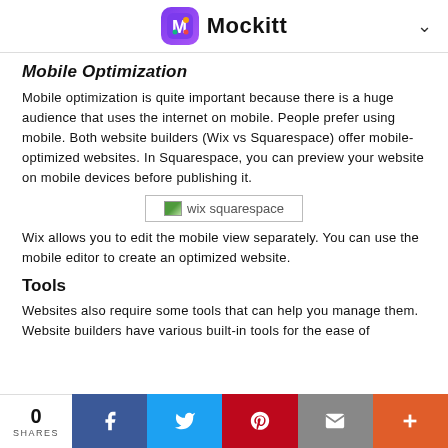Mockitt
Mobile Optimization
Mobile optimization is quite important because there is a huge audience that uses the internet on mobile. People prefer using mobile. Both website builders (Wix vs Squarespace) offer mobile-optimized websites. In Squarespace, you can preview your website on mobile devices before publishing it.
[Figure (screenshot): Placeholder image box labeled 'wix squarespace']
Wix allows you to edit the mobile view separately. You can use the mobile editor to create an optimized website.
Tools
Websites also require some tools that can help you manage them. Website builders have various built-in tools for the ease of
0 SHARES | Facebook | Twitter | Pinterest | Email | More